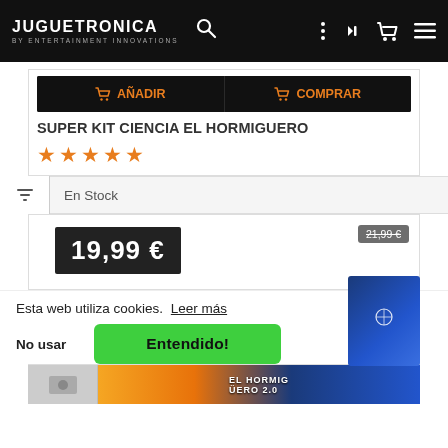JUGUETRONICA BY ENTERTAINMENT INNOVATIONS
AÑADIR  COMPRAR
SUPER KIT CIENCIA EL HORMIGUERO
★★★★★
En Stock
21,99 €  19,99 €
Esta web utiliza cookies. Leer más
No usar   Entendido!